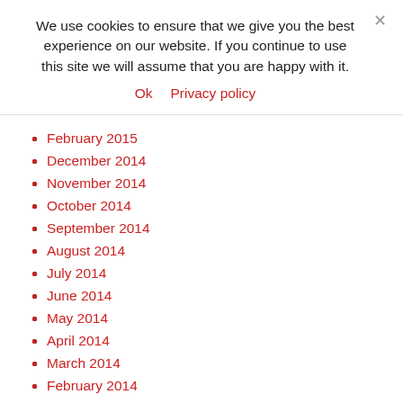We use cookies to ensure that we give you the best experience on our website. If you continue to use this site we will assume that you are happy with it.
Ok   Privacy policy
February 2015
December 2014
November 2014
October 2014
September 2014
August 2014
July 2014
June 2014
May 2014
April 2014
March 2014
February 2014
January 2014
November 2013
October 2013
September 2013
July 2013